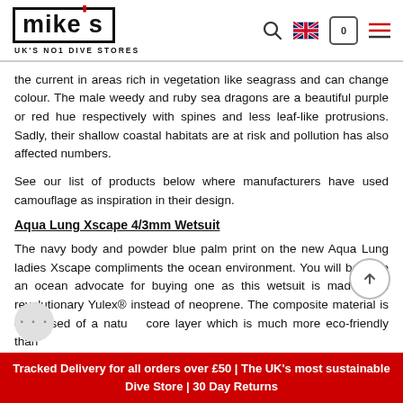mike's UK'S NO1 DIVE STORES
the current in areas rich in vegetation like seagrass and can change colour. The male weedy and ruby sea dragons are a beautiful purple or red hue respectively with spines and less leaf-like protrusions. Sadly, their shallow coastal habitats are at risk and pollution has also affected numbers.
See our list of products below where manufacturers have used camouflage as inspiration in their design.
Aqua Lung Xscape 4/3mm Wetsuit
The navy body and powder blue palm print on the new Aqua Lung ladies Xscape compliments the ocean environment. You will become an ocean advocate for buying one as this wetsuit is made from revolutionary Yulex® instead of neoprene. The composite material is comprised of a natural core layer which is much more eco-friendly than
Tracked Delivery for all orders over £50 | The UK's most sustainable Dive Store | 30 Day Returns